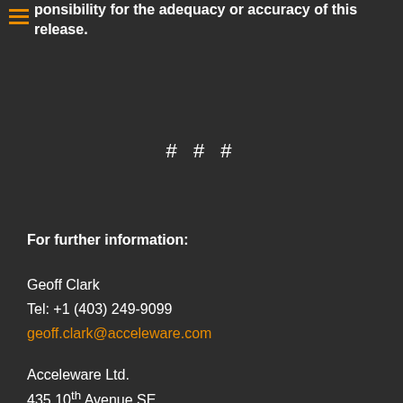ponsibility for the adequacy or accuracy of this release.
# # #
For further information:
Geoff Clark
Tel: +1 (403) 249-9099
geoff.clark@acceleware.com
Acceleware Ltd.
435 10th Avenue SE